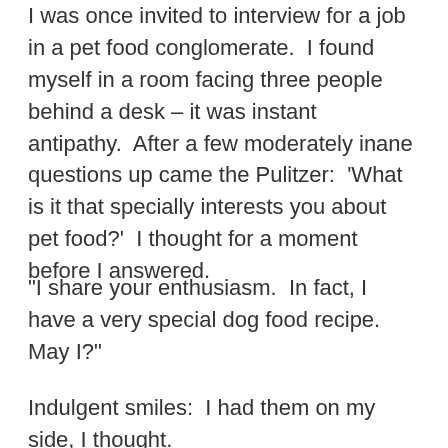I was once invited to interview for a job in a pet food conglomerate.  I found myself in a room facing three people behind a desk – it was instant antipathy.  After a few moderately inane questions up came the Pulitzer:  'What is it that specially interests you about pet food?'  I thought for a moment before I answered.
"I share your enthusiasm.  In fact, I have a very special dog food recipe.  May I?"
Indulgent smiles:  I had them on my side, I thought.